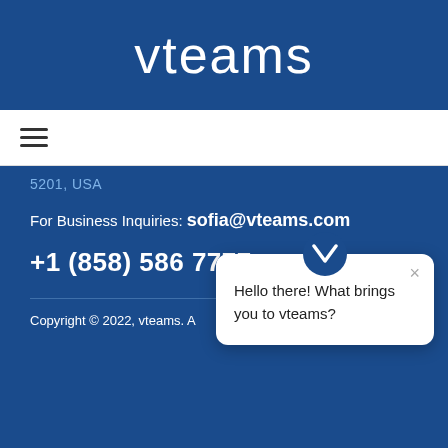vteams
[Figure (screenshot): Hamburger menu icon (three horizontal lines)]
5201, USA
For Business Inquiries: sofia@vteams.com
+1 (858) 586 7777
[Figure (screenshot): Chat popup widget with vteams logo icon, close button, and message: Hello there! What brings you to vteams?]
Copyright © 2022, vteams. A
[Figure (logo): Google reCAPTCHA badge with recycling arrows logo and Privacy - Terms text]
y Policy
[Figure (screenshot): Chat widget button icon in bottom right corner]